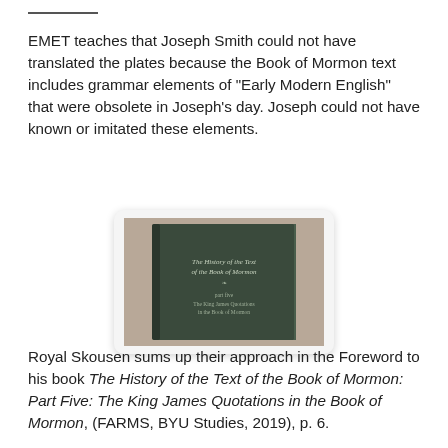EMET teaches that Joseph Smith could not have translated the plates because the Book of Mormon text includes grammar elements of "Early Modern English" that were obsolete in Joseph's day. Joseph could not have known or imitated these elements.
[Figure (photo): Photo of a dark hardcover book titled 'The History of the Text of the Book of Mormon' with subtitle text visible on the cover, placed on a textured surface.]
Royal Skousen sums up their approach in the Foreword to his book The History of the Text of the Book of Mormon: Part Five: The King James Quotations in the Book of Mormon, (FARMS, BYU Studies, 2019), p. 6.